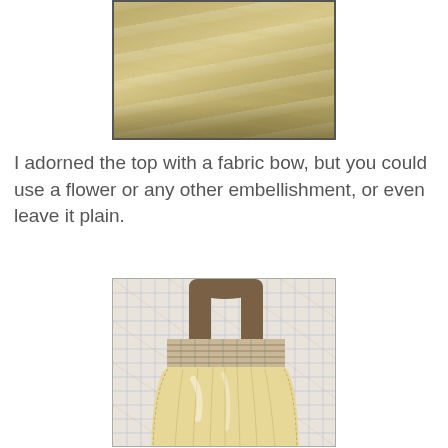[Figure (photo): Close-up photo of light beige fabric with soft folds or pleats, appearing to be the top portion of a fabric bag or garment]
I adorned the top with a fabric bow, but you could use a flower or any other embellishment, or even leave it plain.
[Figure (photo): Photo of a handmade fabric bag with a plaid/checkered fabric handle and cuff band, and a cream/beige gathered main body, laid flat on a quilting grid cutting mat]